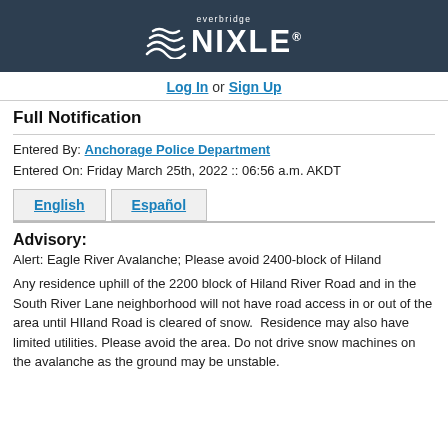[Figure (logo): Everbridge NIXLE logo with wave icon on dark navy background]
Log In or Sign Up
Full Notification
Entered By: Anchorage Police Department
Entered On: Friday March 25th, 2022 :: 06:56 a.m. AKDT
English | Español
Advisory:
Alert: Eagle River Avalanche; Please avoid 2400-block of Hiland
Any residence uphill of the 2200 block of Hiland River Road and in the South River Lane neighborhood will not have road access in or out of the area until HIland Road is cleared of snow.  Residence may also have limited utilities. Please avoid the area. Do not drive snow machines on the avalanche as the ground may be unstable.